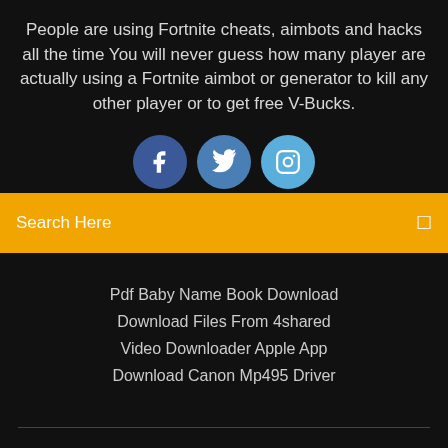People are using Fortnite cheats, aimbots and hacks all the time You will never guess how many player are actually using a Fortnite aimbot or generator to kill any other player or to get free V-Bucks.
[Figure (illustration): Three social media icon circles: Facebook (dark blue), Twitter (medium blue), Instagram (light blue)]
Search Here
Pdf Baby Name Book Download
Download Files From 4shared
Video Downloader Apple App
Download Canon Mp495 Driver
Copyright ©2022 All rights reserved